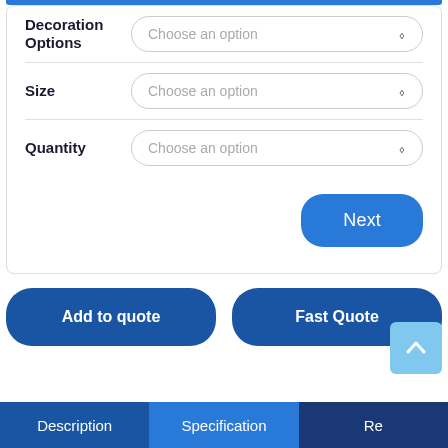Decoration Options
Choose an option
Size
Choose an option
Quantity
Choose an option
Next
Add to quote
Fast Quote
Description
Specification
Re